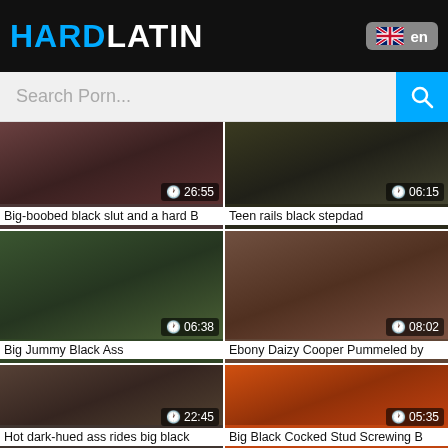HARDLATIN
Search Porn...
[Figure (screenshot): Video thumbnail grid with 6 adult video thumbnails in a 2-column layout]
Big-boobed black slut and a hard B
Teen rails black stepdad
Big Jummy Black Ass
Ebony Daizy Cooper Pummeled by
Hot dark-hued ass rides big black
Big Black Cocked Stud Screwing B